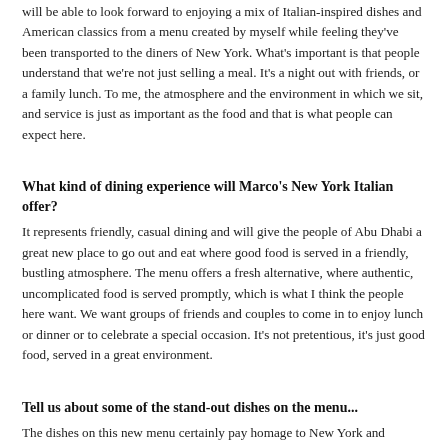will be able to look forward to enjoying a mix of Italian-inspired dishes and American classics from a menu created by myself while feeling they've been transported to the diners of New York. What's important is that people understand that we're not just selling a meal. It's a night out with friends, or a family lunch. To me, the atmosphere and the environment in which we sit, and service is just as important as the food and that is what people can expect here.
What kind of dining experience will Marco's New York Italian offer?
It represents friendly, casual dining and will give the people of Abu Dhabi a great new place to go out and eat where good food is served in a friendly, bustling atmosphere. The menu offers a fresh alternative, where authentic, uncomplicated food is served promptly, which is what I think the people here want. We want groups of friends and couples to come in to enjoy lunch or dinner or to celebrate a special occasion. It's not pretentious, it's just good food, served in a great environment.
Tell us about some of the stand-out dishes on the menu...
The dishes on this new menu certainly pay homage to New York and America, and perfectly complements some of my favourite Italian